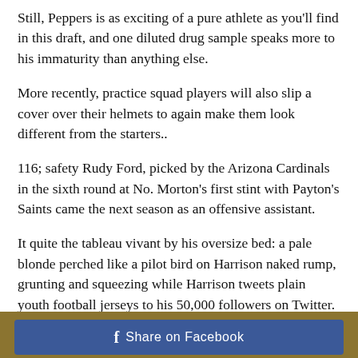Still, Peppers is as exciting of a pure athlete as you'll find in this draft, and one diluted drug sample speaks more to his immaturity than anything else.
More recently, practice squad players will also slip a cover over their helmets to again make them look different from the starters..
116; safety Rudy Ford, picked by the Arizona Cardinals in the sixth round at No. Morton's first stint with Payton's Saints came the next season as an offensive assistant.
It quite the tableau vivant by his oversize bed: a pale blonde perched like a pilot bird on Harrison naked rump, grunting and squeezing while Harrison tweets plain youth football jerseys to his 50,000 followers on Twitter.
Share on Facebook